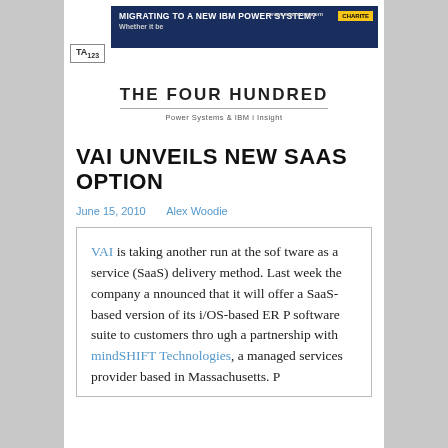[Figure (screenshot): Advertisement banner: 'MIGRATING TO A NEW IBM POWER SYSTEM? Whether it be' with dark blue background and yellow badge on right]
[Figure (logo): TA123 logo box with border]
THE FOUR HUNDRED
Power Systems & IBM i Insight
VAI UNVEILS NEW SAAS OPTION
June 15, 2010    Alex Woodie
VAI is taking another run at the software as a service (SaaS) delivery method. Last week the company announced that it will offer a SaaS-based version of its i/OS-based ERP software suite to customers through a partnership with mindSHIFT Technologies, a managed services provider based in Massachusetts. P